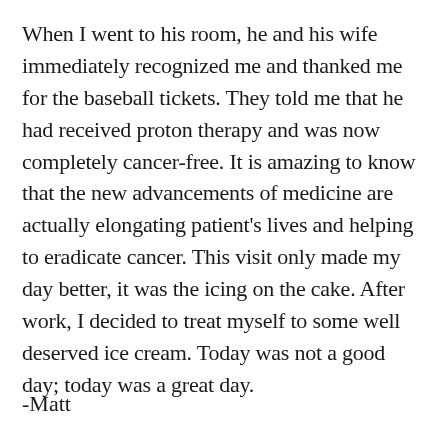When I went to his room, he and his wife immediately recognized me and thanked me for the baseball tickets. They told me that he had received proton therapy and was now completely cancer-free. It is amazing to know that the new advancements of medicine are actually elongating patient's lives and helping to eradicate cancer. This visit only made my day better, it was the icing on the cake. After work, I decided to treat myself to some well deserved ice cream. Today was not a good day; today was a great day.
-Matt